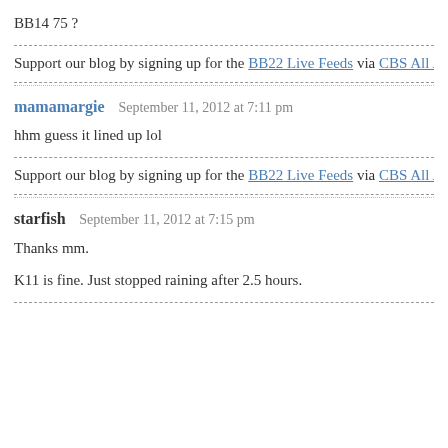BB14 75 ?
Support our blog by signing up for the BB22 Live Feeds via CBS All Acco
mamamargie   September 11, 2012 at 7:11 pm
hhm guess it lined up lol
Support our blog by signing up for the BB22 Live Feeds via CBS All Acco
starfish   September 11, 2012 at 7:15 pm
Thanks mm.
K11 is fine. Just stopped raining after 2.5 hours.